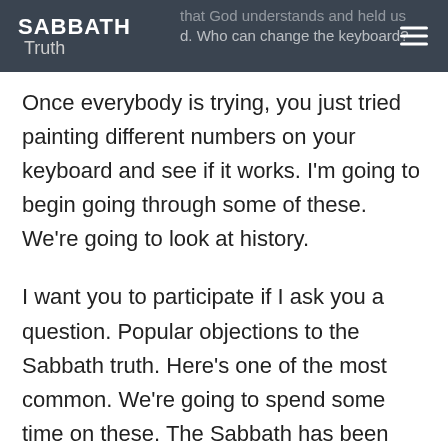SABBATH Truth
Once everybody is trying, you just tried painting different numbers on your keyboard and see if it works. I'm going to begin going through some of these. We're going to look at history.
I want you to participate if I ask you a question. Popular objections to the Sabbath truth. Here's one of the most common. We're going to spend some time on these. The Sabbath has been changed